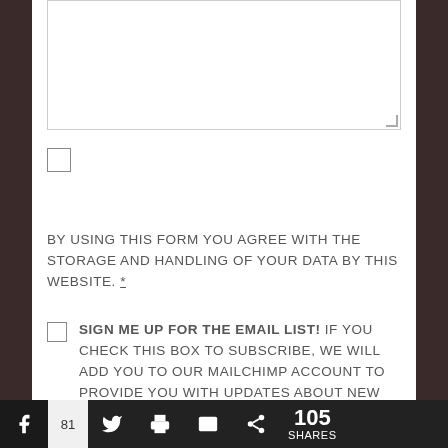[Figure (screenshot): A web form textarea (empty text input box) with resize handle at bottom-right]
[Figure (screenshot): A checkbox (unchecked) for form agreement]
BY USING THIS FORM YOU AGREE WITH THE STORAGE AND HANDLING OF YOUR DATA BY THIS WEBSITE. *
SIGN ME UP FOR THE EMAIL LIST! IF YOU CHECK THIS BOX TO SUBSCRIBE, WE WILL ADD YOU TO OUR MAILCHIMP ACCOUNT TO PROVIDE YOU WITH UPDATES ABOUT NEW ARTICLES, VIDEOS, PODCASTS, AND
f 81  [twitter] [print] [mail] < 105 SHARES